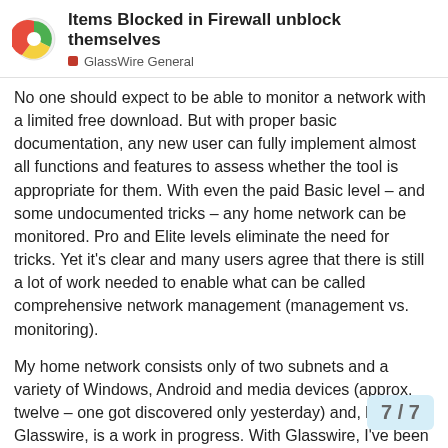Items Blocked in Firewall unblock themselves
GlassWire General
No one should expect to be able to monitor a network with a limited free download. But with proper basic documentation, any new user can fully implement almost all functions and features to assess whether the tool is appropriate for them. With even the paid Basic level – and some undocumented tricks – any home network can be monitored. Pro and Elite levels eliminate the need for tricks. Yet it's clear and many users agree that there is still a lot of work needed to enable what can be called comprehensive network management (management vs. monitoring).
My home network consists only of two subnets and a variety of Windows, Android and media devices (approx. twelve – one got discovered only yesterday) and, like Glasswire, is a work in progress. With Glasswire, I've been able to monitor all 4 PCs, determine sources of excessive usage (by individual and by software), discover a trojan horse, manage throughput and limit the potentially escalating costs of a capped internet service. That's what make Glasswire worth purchasing and why I've contributed to the development of Glasswi...
7 / 7